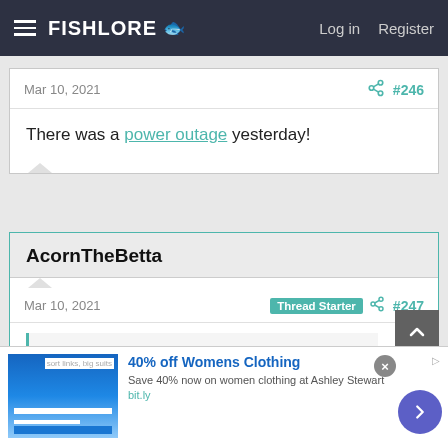FishLore  Log in  Register
Mar 10, 2021  #246
There was a power outage yesterday!
AcornTheBetta
Mar 10, 2021  Thread Starter  #247
There was a power outage yesterday!
Really? Not for me... Are your fish ok?
40% off Womens Clothing
Save 40% now on women clothing at Ashley Stewart
bit.ly